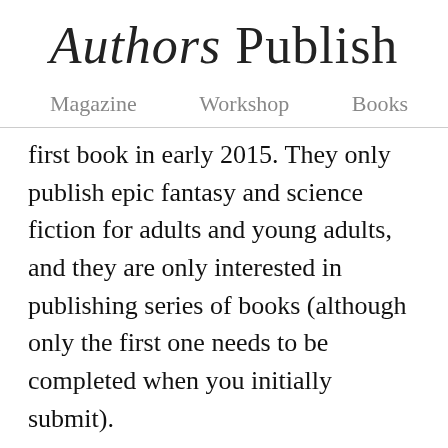Authors Publish
Magazine   Workshop   Books
first book in early 2015. They only publish epic fantasy and science fiction for adults and young adults, and they are only interested in publishing series of books (although only the first one needs to be completed when you initially submit).
You can learn a bit more about their limited history here. Their website was a little hard to navigate, but it was mostly well designed. My biggest issue is that they